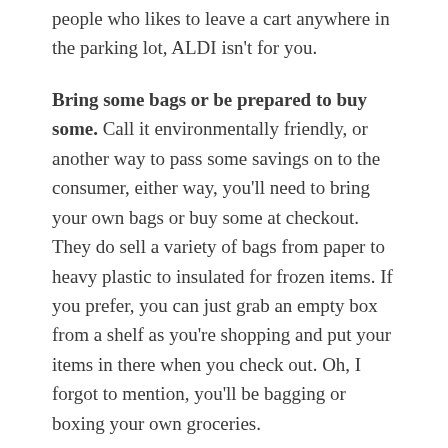people who likes to leave a cart anywhere in the parking lot, ALDI isn't for you.
Bring some bags or be prepared to buy some. Call it environmentally friendly, or another way to pass some savings on to the consumer, either way, you'll need to bring your own bags or buy some at checkout. They do sell a variety of bags from paper to heavy plastic to insulated for frozen items. If you prefer, you can just grab an empty box from a shelf as you're shopping and put your items in there when you check out. Oh, I forgot to mention, you'll be bagging or boxing your own groceries.
Leave the checkbook and credit cards at home. ALDI only accepts cash and debit cards. It's faster for them